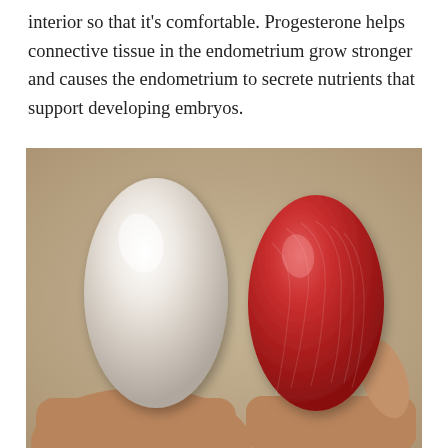interior so that it's comfortable. Progesterone helps connective tissue in the endometrium grow stronger and causes the endometrium to secrete nutrients that support developing embryos.
[Figure (photo): A photograph showing two objects held in hands side by side: a white/pearl-colored smooth oval object on the left and a red textured oval object on the right, against a beige/tan background. These appear to be models or supplements related to endometrium or progesterone.]